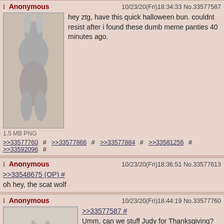Anonymous 10/23/20(Fri)18:34:33 No.33577587 — hey ztg, have this quick halloween bun. couldnt resist after i found these dumb meme panties 40 minutes ago. 1.5 MB PNG
>>33577760 # >>33577866 # >>33577884 # >>33581256 # >>33592096 #
Anonymous 10/23/20(Fri)18:36:51 No.33577613 — >>33548675 (OP) # oh hey, the scat wolf
Anonymous 10/23/20(Fri)18:44:19 No.33577760 — >>33577587 # Umm, can we stuff Judy for Thanksgiving? 555 KB JPG
Anonymous 10/23/20(Fri)18:49:21 No.33577866